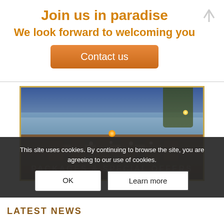Join us in paradise
We look forward to welcoming you
Contact us
[Figure (photo): Outdoor dining setup at dusk by a riverside, with warm lights, wooden chairs, and a set table. Trees and water visible in the background. Text overlay reads 'PACKAGES & SPECIAL OFFERS'.]
This site uses cookies. By continuing to browse the site, you are agreeing to our use of cookies.
OK
Learn more
LATEST NEWS